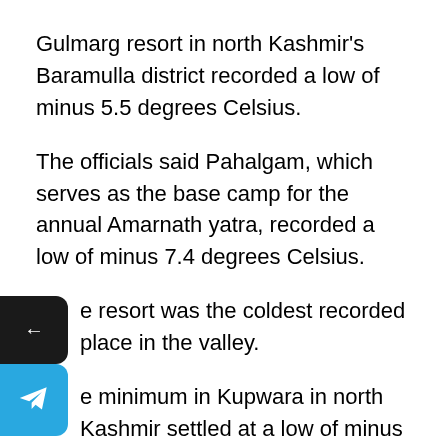Gulmarg resort in north Kashmir’s Baramulla district recorded a low of minus 5.5 degrees Celsius.
The officials said Pahalgam, which serves as the base camp for the annual Amarnath yatra, recorded a low of minus 7.4 degrees Celsius.
The resort was the coldest recorded place in the valley.
The minimum in Kupwara in north Kashmir settled at a low of minus 5.2 degrees Celsius.
Qazigund, the gateway town to the valley, recorded minus 6 degrees Celsius, while Kokernag also recorded a low of minus 5.9 degrees Celsius.
The weather office has forecast colder nights over the next